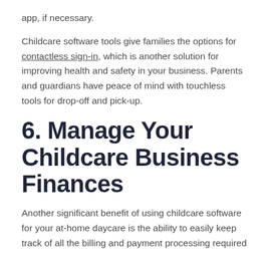app, if necessary.
Childcare software tools give families the options for contactless sign-in, which is another solution for improving health and safety in your business. Parents and guardians have peace of mind with touchless tools for drop-off and pick-up.
6. Manage Your Childcare Business Finances
Another significant benefit of using childcare software for your at-home daycare is the ability to easily keep track of all the billing and payment processing required